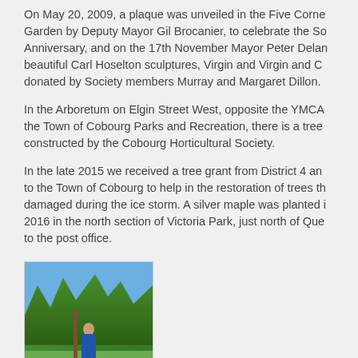On May 20, 2009, a plaque was unveiled in the Five Corner Garden by Deputy Mayor Gil Brocanier, to celebrate the Society Anniversary, and on the 17th November Mayor Peter Delan beautiful Carl Hoselton sculptures, Virgin and Virgin and Ch donated by Society members Murray and Margaret Dillon.
In the Arboretum on Elgin Street West, opposite the YMCA the Town of Cobourg Parks and Recreation, there is a tree b constructed by the Cobourg Horticultural Society.
In the late 2015 we received a tree grant from District 4 and to the Town of Cobourg to help in the restoration of trees tha damaged during the ice storm. A silver maple was planted in 2016 in the north section of Victoria Park, just north of Quee to the post office.
[Figure (photo): Outdoor photo of a person standing next to a young tree in a park setting with grass and trees in the background under a blue sky]